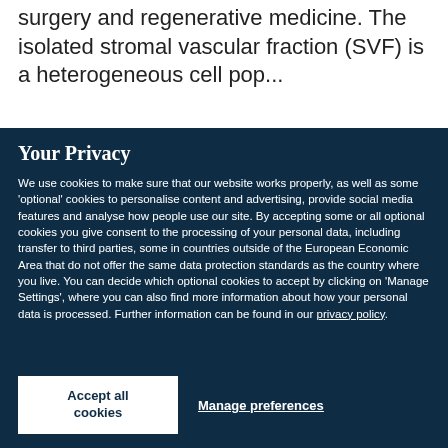surgery and regenerative medicine. The isolated stromal vascular fraction (SVF) is a heterogeneous cell pop...
Your Privacy
We use cookies to make sure that our website works properly, as well as some 'optional' cookies to personalise content and advertising, provide social media features and analyse how people use our site. By accepting some or all optional cookies you give consent to the processing of your personal data, including transfer to third parties, some in countries outside of the European Economic Area that do not offer the same data protection standards as the country where you live. You can decide which optional cookies to accept by clicking on 'Manage Settings', where you can also find more information about how your personal data is processed. Further information can be found in our privacy policy.
Accept all cookies
Manage preferences